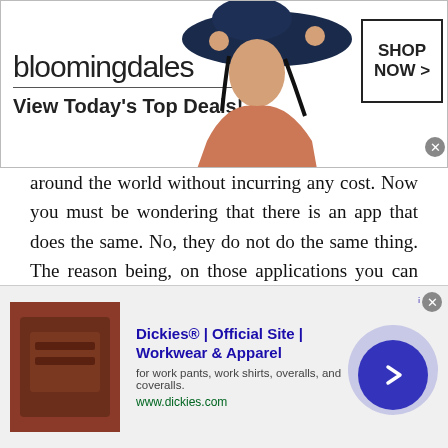[Figure (screenshot): Bloomingdale's advertisement banner: logo text 'bloomingdales', tagline 'View Today's Top Deals!', woman in hat photo, and 'SHOP NOW >' button]
around the world without incurring any cost. Now you must be wondering that there is an app that does the same. No, they do not do the same thing. The reason being, on those applications you can only communicate with the people with whom you have a connection. You might know them by any reference, or you might know them directly. However, if you wish to talk to a stranger through those platforms, say you want to video chat with random people of Philippines or simply want to chat with the people of
[Figure (screenshot): Dickies advertisement banner: product image of brown leather item, title 'Dickies® | Official Site | Workwear & Apparel', subtitle 'for work pants, work shirts, overalls, and coveralls.', URL 'www.dickies.com', and a blue circular chevron button]